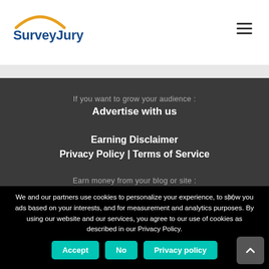[Figure (logo): SurveyJury logo with orange arc and blue text]
If you want to grow your audience :
Advertise with us
Earning Disclaimer
Privacy Policy | Terms of Service
Earn money from your blog or site :
Become a Publisher
We and our partners use cookies to personalize your experience, to show you ads based on your interests, and for measurement and analytics purposes. By using our website and our services, you agree to our use of cookies as described in our Privacy Policy.